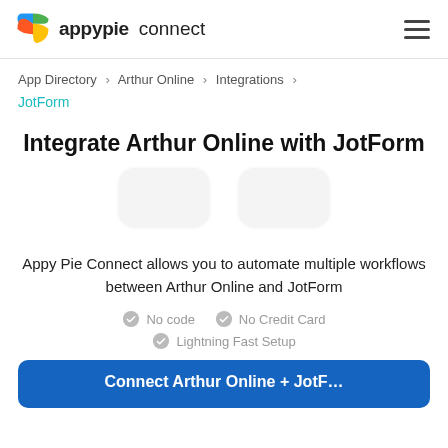appypie connect
App Directory > Arthur Online > Integrations > JotForm
Integrate Arthur Online with JotForm
[Figure (illustration): Two rounded rectangle placeholder boxes representing Arthur Online and JotForm app icons side by side]
Appy Pie Connect allows you to automate multiple workflows between Arthur Online and JotForm
No code   No Credit Card
Lightning Fast Setup
Connect Arthur Online + JotForm (partially visible button)